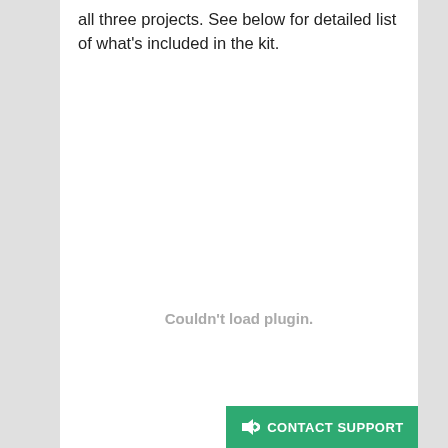all three projects. See below for detailed list of what's included in the kit.
[Figure (other): Couldn't load plugin. — placeholder area where a plugin/media element failed to load]
CONTACT SUPPORT